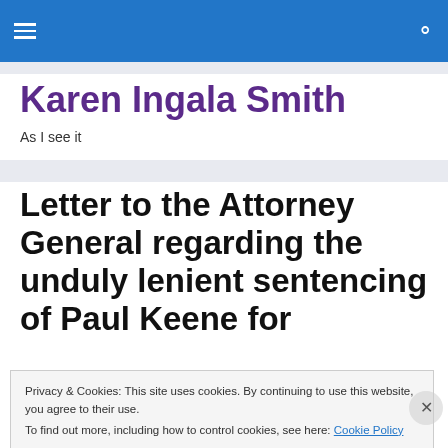Karen Ingala Smith — navigation bar
Karen Ingala Smith
As I see it
Letter to the Attorney General regarding the unduly lenient sentencing of Paul Keene for
Privacy & Cookies: This site uses cookies. By continuing to use this website, you agree to their use.
To find out more, including how to control cookies, see here: Cookie Policy
Close and accept